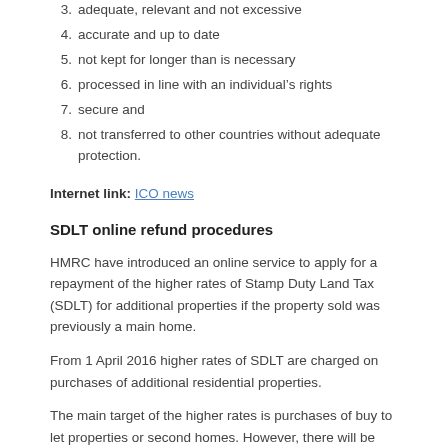3. adequate, relevant and not excessive
4. accurate and up to date
5. not kept for longer than is necessary
6. processed in line with an individual's rights
7. secure and
8. not transferred to other countries without adequate protection.
Internet link: ICO news
SDLT online refund procedures
HMRC have introduced an online service to apply for a repayment of the higher rates of Stamp Duty Land Tax (SDLT) for additional properties if the property sold was previously a main home.
From 1 April 2016 higher rates of SDLT are charged on purchases of additional residential properties.
The main target of the higher rates is purchases of buy to let properties or second homes. However, there will be some